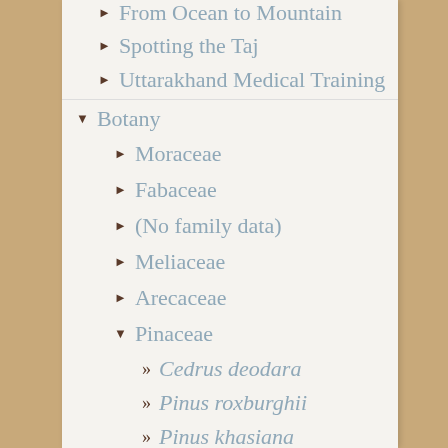▶ From Ocean to Mountain
▶ Spotting the Taj
▶ Uttarakhand Medical Training
▼ Botany
▶ Moraceae
▶ Fabaceae
▶ (No family data)
▶ Meliaceae
▶ Arecaceae
▼ Pinaceae
» Cedrus deodara
» Pinus roxburghii
» Pinus khasiana
» Abies pindrow
» Cedrus atlantica
» Pinus ponderosa